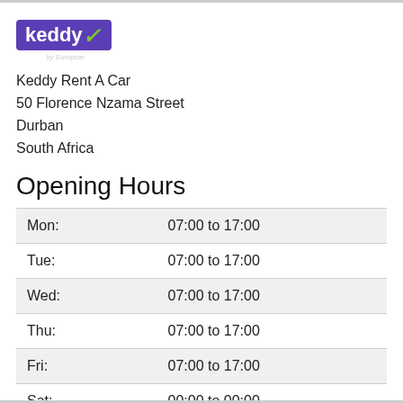[Figure (logo): Keddy by Europcar logo — purple rectangle with white text 'keddy' and a green checkmark, with 'by Europcar' in small italic text below]
Keddy Rent A Car
50 Florence Nzama Street
Durban
South Africa
Opening Hours
| Day | Hours |
| --- | --- |
| Mon: | 07:00 to 17:00 |
| Tue: | 07:00 to 17:00 |
| Wed: | 07:00 to 17:00 |
| Thu: | 07:00 to 17:00 |
| Fri: | 07:00 to 17:00 |
| Sat: | 00:00 to 00:00 |